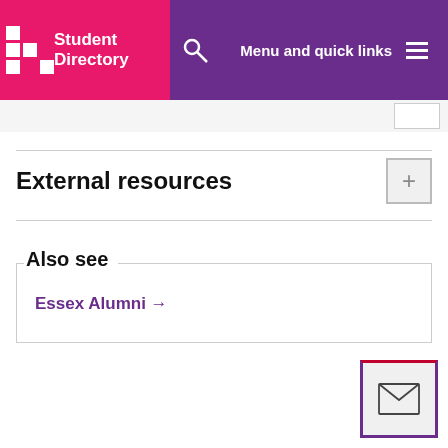Student Directory | Menu and quick links
External resources
Also see
Essex Alumni →
[Figure (illustration): Envelope/email icon button in bottom right corner with purple and red border]